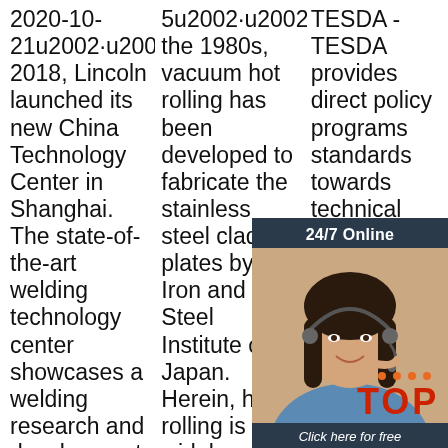2020-10-21u2002·u2002In 2018, Lincoln launched its new China Technology Center in Shanghai. The state-of-the-art welding technology center showcases a welding research and development lab, a welding
5u2002·u2002Since the 1980s, vacuum hot rolling has been developed to fabricate the stainless steel clad plates by the Iron and Steel Institute of Japan. Herein, hot rolling is a widely used solid-state bonding
TESDA - TESDA provides direct policy programs standards towards technical education skills development Technical Education and Skills Development Authority East
[Figure (other): 24/7 Online chat support widget with a photo of a woman with headset, 'Click here for free chat!' text, and an orange QUOTATION button]
[Figure (other): Orange and dark red TOP badge with decorative dots]